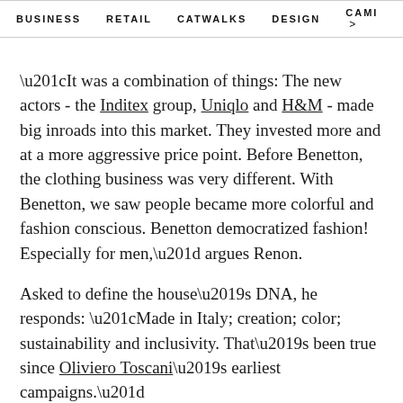BUSINESS   RETAIL   CATWALKS   DESIGN   CAMI >
“It was a combination of things: The new actors - the Inditex group, Uniqlo and H&M - made big inroads into this market. They invested more and at a more aggressive price point. Before Benetton, the clothing business was very different. With Benetton, we saw people became more colorful and fashion conscious. Benetton democratized fashion! Especially for men,” argues Renon.
Asked to define the house’s DNA, he responds: “Made in Italy; creation; color; sustainability and inclusivity. That’s been true since Oliviero Toscani’s earliest campaigns.”
As Renon puts it, Benetton was one of the first...